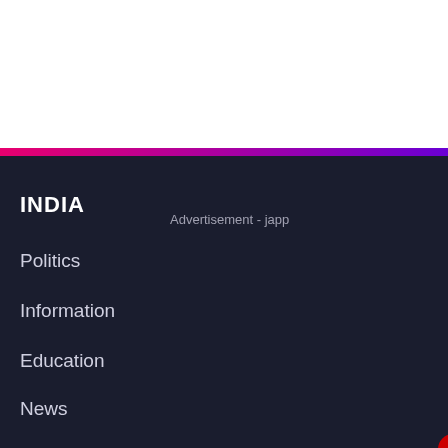[Figure (screenshot): White blank area at the top of the page]
Advertisement - japp x
INDIA
Politics
Information
Education
News
Elections